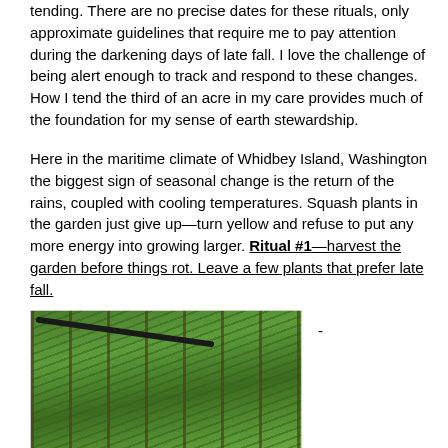tending. There are no precise dates for these rituals, only approximate guidelines that require me to pay attention during the darkening days of late fall. I love the challenge of being alert enough to track and respond to these changes. How I tend the third of an acre in my care provides much of the foundation for my sense of earth stewardship.
Here in the maritime climate of Whidbey Island, Washington the biggest sign of seasonal change is the return of the rains, coupled with cooling temperatures. Squash plants in the garden just give up—turn yellow and refuse to put any more energy into growing larger. Ritual #1—harvest the garden before things rot. Leave a few plants that prefer late fall.
[Figure (photo): A garden bed with lush green leafy plants (possibly carrot tops or dill) growing between rows, with a dark irrigation hose visible and rusty metal rods/stakes.]